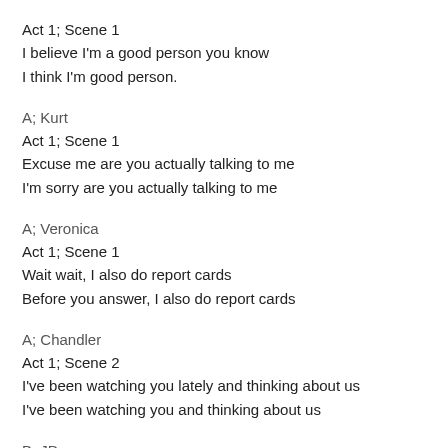Act 1; Scene 1
I believe I'm a good person you know
I think I'm good person.
A; Kurt
Act 1; Scene 1
Excuse me are you actually talking to me
I'm sorry are you actually talking to me
A; Veronica
Act 1; Scene 1
Wait wait, I also do report cards
Before you answer, I also do report cards
A; Chandler
Act 1; Scene 2
I've been watching you lately and thinking about us
I've been watching you and thinking about us
B; JD